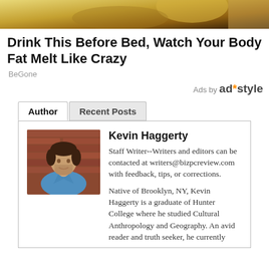[Figure (photo): Top banner image showing food/drink related content (partially visible, cropped at top of page)]
Drink This Before Bed, Watch Your Body Fat Melt Like Crazy
BeGone
Ads by ad*style
Author | Recent Posts
[Figure (photo): Portrait photo of Kevin Haggerty, a young man with short dark hair wearing a blue button-up shirt, standing in front of a brick wall]
Kevin Haggererty
Staff Writer--Writers and editors can be contacted at writers@bizpcreview.com with feedback, tips, or corrections.
Native of Brooklyn, NY, Kevin Haggerty is a graduate of Hunter College where he studied Cultural Anthropology and Geography. An avid reader and truth seeker, he currently